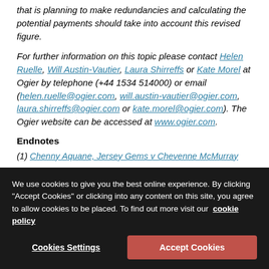that is planning to make redundancies and calculating the potential payments should take into account this revised figure.
For further information on this topic please contact Helen Ruelle, Will Austin-Vautier, Laura Shirreffs or Kate Morel at Ogier by telephone (+44 1534 514000) or email (helen.ruelle@ogier.com, will.austin-vautier@ogier.com, laura.shirreffs@ogier.com or kate.morel@ogier.com). The Ogier website can be accessed at www.ogier.com.
Endnotes
(1) Chenny Aquane, Jersey Gems v Chevenne McMurray
We use cookies to give you the best online experience. By clicking "Accept Cookies" or clicking into any content on this site, you agree to allow cookies to be placed. To find out more visit our cookie policy